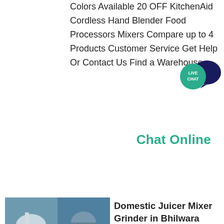Colors Available 20 OFF KitchenAid Cordless Hand Blender Food Processors Mixers Compare up to 4 Products Customer Service Get Help Or Contact Us Find a Warehouse.
[Figure (illustration): Live Chat speech bubble icon with dark blue/teal chat bubble and teal circle with 'LIVE CHAT' text]
Chat Online
[Figure (photo): Industrial machinery/equipment collage showing large tanks and workers in a factory setting]
Domestic Juicer Mixer Grinder in Bhilwara भीलवाड़ा राजस्थान
Business listings of Domestic Juicer Mixer Grinder Juicer manufacturers suppliers and exporters in Bhilwara भीलवाड़ा राजस्थान जूसर मिक्सर ग्राइंडर जूसर राजस्थान Rajasthan along with their contact details address Find here Domestic Juicer Mixer Grinder Juicer suppliers manufacturers wholesalers traders with